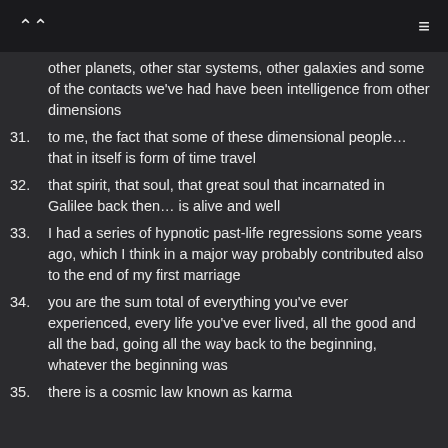other planets, other star systems, other galaxies and some of the contacts we've had have been intelligence from other dimensions
31. to me, the fact that some of these dimensional people... that in itself is form of time travel
32. that spirit, that soul, that great soul that incarnated in Galilee back then... is alive and well
33. I had a series of hypnotic past-life regressions some years ago, which I think in a major way probably contributed also to the end of my first marriage
34. you are the sum total of everything you've ever experienced, every life you've ever lived, all the good and all the bad, going all the way back to the beginning, whatever the beginning was
35. there is a cosmic law known as karma